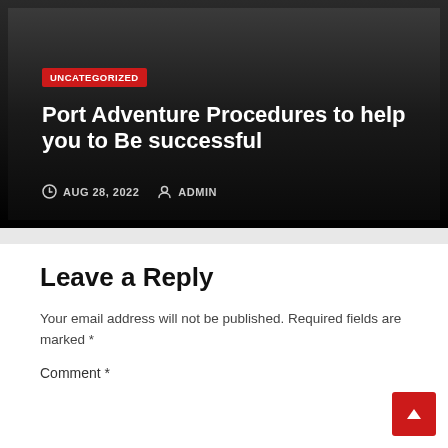[Figure (screenshot): Blog post card with dark/black background showing category badge, title, and meta information]
UNCATEGORIZED
Port Adventure Procedures to help you to Be successful
AUG 28, 2022   ADMIN
Leave a Reply
Your email address will not be published. Required fields are marked *
Comment *